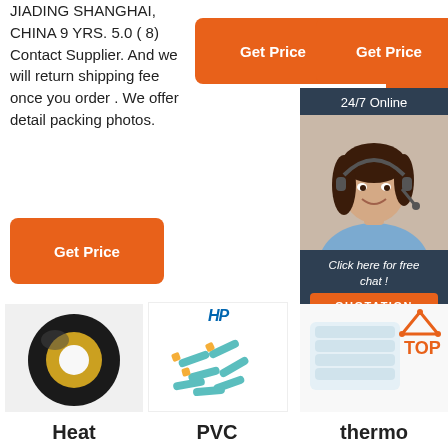JIADING SHANGHAI, CHINA 9 YRS. 5.0 ( 8) Contact Supplier. And we will return shipping fee once you order . We offer detail packing photos.
[Figure (other): Orange 'Get Price' button (top center)]
[Figure (other): Orange 'Get Price' button (top right)]
[Figure (other): Sidebar with 24/7 Online support agent photo, 'Click here for free chat!' text, and QUOTATION button]
[Figure (other): Orange 'Get Price' button (bottom left)]
[Figure (photo): Black PVC electrical tape roll]
[Figure (photo): HP branded product with blue/teal small components (fuses or connectors)]
[Figure (photo): Clear thermo shrink tubing product with TOP badge logo]
Heat
PVC
thermo